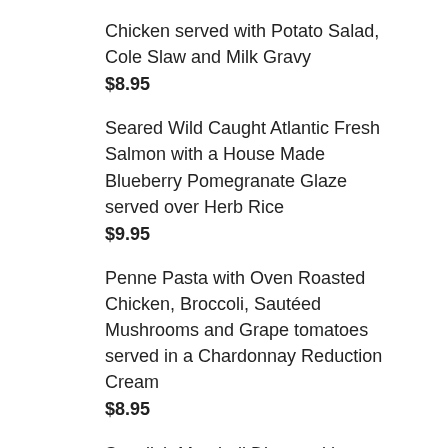Chicken served with Potato Salad, Cole Slaw and Milk Gravy
$8.95
Seared Wild Caught Atlantic Fresh Salmon with a House Made Blueberry Pomegranate Glaze served over Herb Rice
$9.95
Penne Pasta with Oven Roasted Chicken, Broccoli, Sautéed Mushrooms and Grape tomatoes served in a Chardonnay Reduction Cream
$8.95
Swedish Meatball Dinner with a Home Made Brown Sauce laced with Sour Cream and Fresh